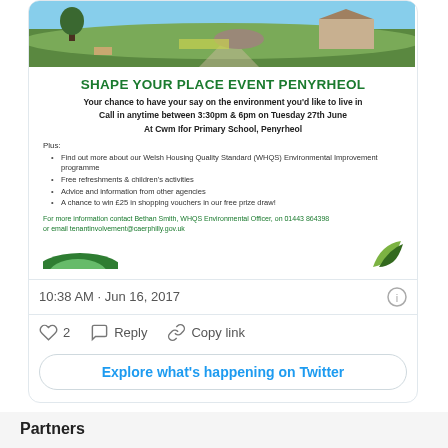[Figure (screenshot): Twitter/X embedded tweet showing a flyer for 'Shape Your Place Event Penyrheol' event posted Jun 16 2017 with landscape photo at top]
SHAPE YOUR PLACE EVENT PENYRHEOL
Your chance to have your say on the environment you'd like to live in
Call in anytime between 3:30pm & 6pm on Tuesday 27th June
At Cwm Ifor Primary School, Penyrheol
Plus:
Find out more about our Welsh Housing Quality Standard (WHQS) Environmental Improvement programme
Free refreshments & children's activities
Advice and information from other agencies
A chance to win £25 in shopping vouchers in our free prize draw!
For more information contact Bethan Smith, WHQS Environmental Officer, on 01443 864398 or email tenantinvolvement@caerphilly.gov.uk
10:38 AM · Jun 16, 2017
2
Reply
Copy link
Explore what's happening on Twitter
Partners